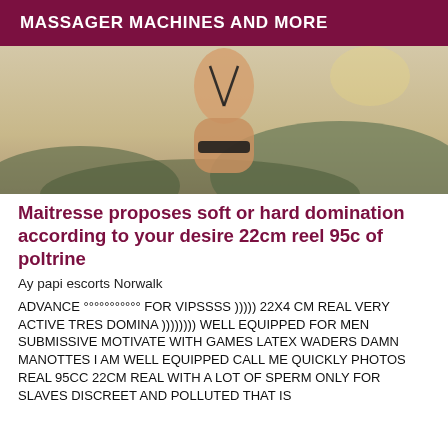MASSAGER MACHINES AND MORE
[Figure (photo): Outdoor photo of a person from behind wearing a black bikini, blurred landscape background with hills and sky]
Maitresse proposes soft or hard domination according to your desire 22cm reel 95c of poltrine
Ay papi escorts Norwalk
ADVANCE °°°°°°°°°°° FOR VIPSSSS ))))) 22X4 CM REAL VERY ACTIVE TRES DOMINA )))))))) WELL EQUIPPED FOR MEN SUBMISSIVE MOTIVATE WITH GAMES LATEX WADERS DAMN MANOTTES I AM WELL EQUIPPED CALL ME QUICKLY PHOTOS REAL 95CC 22CM REAL WITH A LOT OF SPERM ONLY FOR SLAVES DISCREET AND POLLUTED THAT IS